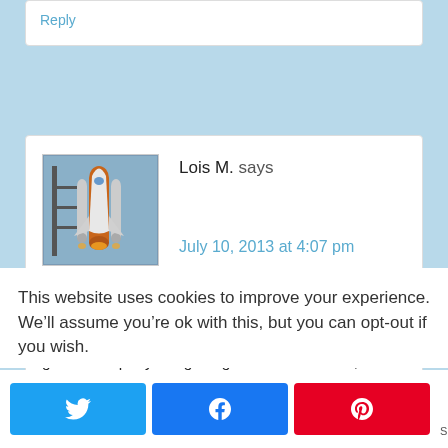Reply
Lois M. says
July 10, 2013 at 4:07 pm
Hi! 🙂 Oooh, they have 5-1/2" x 8-1/2" binders... given I keep my stargazing sketches in them, I can have one for
This website uses cookies to improve your experience. We'll assume you're ok with this, but you can opt-out if you wish.
0 SHARES